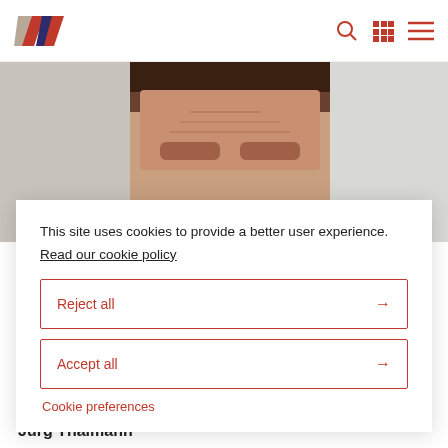W logo, search icon, grid icon, menu icon
[Figure (photo): Header photo strip showing a person's face (man with dark hair) in the center, grey/white panels on either side]
This site uses cookies to provide a better user experience.
Read our cookie policy
Reject all →
Accept all →
Cookie preferences
Jurg Thalmann